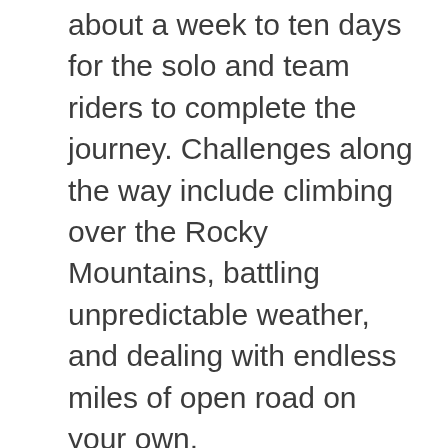about a week to ten days for the solo and team riders to complete the journey. Challenges along the way include climbing over the Rocky Mountains, battling unpredictable weather, and dealing with endless miles of open road on your own.